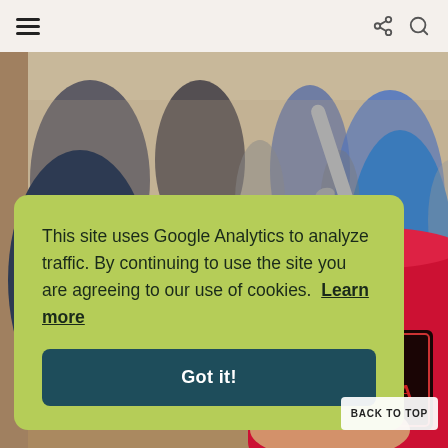[Figure (photo): A person holding a red Pamplona cup with a metal reusable straw at an outdoor crowded event. Background shows blurry crowd of people at what appears to be an outdoor festival or fair.]
Navigation bar with hamburger menu icon and share/search icons
This site uses Google Analytics to analyze traffic. By continuing to use the site you are agreeing to our use of cookies.  Learn more
Got it!
BACK TO TOP